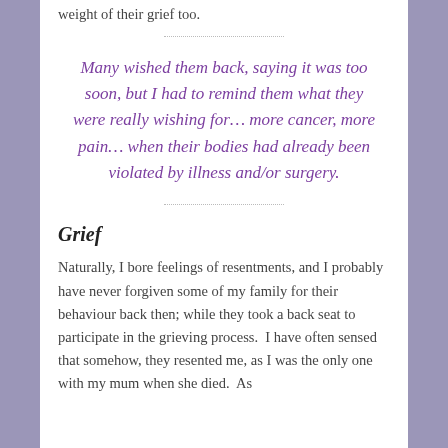weight of their grief too.
Many wished them back, saying it was too soon, but I had to remind them what they were really wishing for… more cancer, more pain… when their bodies had already been violated by illness and/or surgery.
Grief
Naturally, I bore feelings of resentments, and I probably have never forgiven some of my family for their behaviour back then; while they took a back seat to participate in the grieving process.  I have often sensed that somehow, they resented me, as I was the only one with my mum when she died.  As